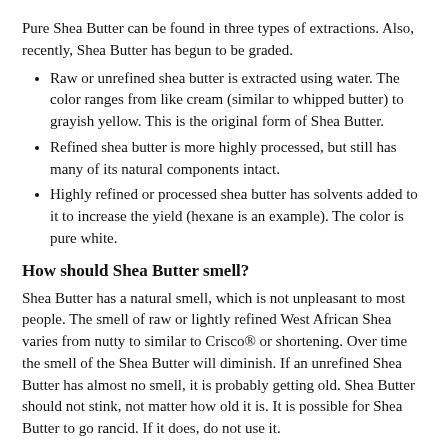Pure Shea Butter can be found in three types of extractions. Also, recently, Shea Butter has begun to be graded.
Raw or unrefined shea butter is extracted using water. The color ranges from like cream (similar to whipped butter) to grayish yellow. This is the original form of Shea Butter.
Refined shea butter is more highly processed, but still has many of its natural components intact.
Highly refined or processed shea butter has solvents added to it to increase the yield (hexane is an example). The color is pure white.
How should Shea Butter smell?
Shea Butter has a natural smell, which is not unpleasant to most people. The smell of raw or lightly refined West African Shea varies from nutty to similar to Crisco® or shortening. Over time the smell of the Shea Butter will diminish. If an unrefined Shea Butter has almost no smell, it is probably getting old. Shea Butter should not stink, not matter how old it is. It is possible for Shea Butter to go rancid. If it does, do not use it.
How do I store Shea Butter?